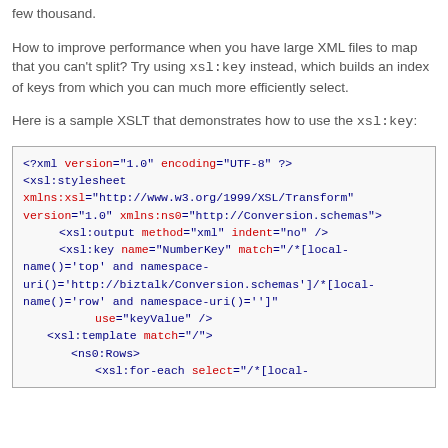few thousand.
How to improve performance when you have large XML files to map that you can't split? Try using xsl:key instead, which builds an index of keys from which you can much more efficiently select.
Here is a sample XSLT that demonstrates how to use the xsl:key:
[Figure (screenshot): Code block showing XML/XSLT sample with syntax highlighting. Red text for attribute values and element names, blue for tags and structure. Content: <?xml version="1.0" encoding="UTF-8" ?> <xsl:stylesheet xmlns:xsl="http://www.w3.org/1999/XSL/Transform" version="1.0" xmlns:ns0="http://Conversion.schemas"> <xsl:output method="xml" indent="no" /> <xsl:key name="NumberKey" match="/*[local-name()='top' and namespace-uri()='http://biztalk/Conversion.schemas']/*[local-name()='row' and namespace-uri()='']" use="keyValue" /> <xsl:template match="/"> <ns0:Rows> <xsl:for-each select="/*[local-]